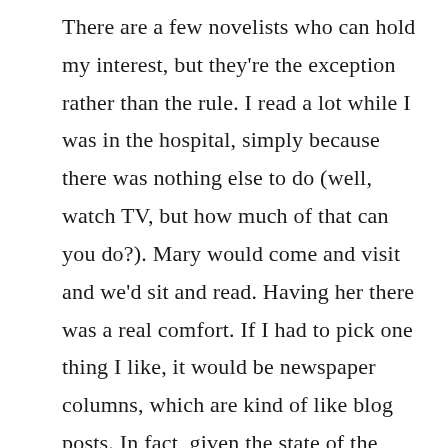There are a few novelists who can hold my interest, but they're the exception rather than the rule. I read a lot while I was in the hospital, simply because there was nothing else to do (well, watch TV, but how much of that can you do?). Mary would come and visit and we'd sit and read. Having her there was a real comfort. If I had to pick one thing I like, it would be newspaper columns, which are kind of like blog posts. In fact, given the state of the newspaper business, that's probably what they'll evolve into...